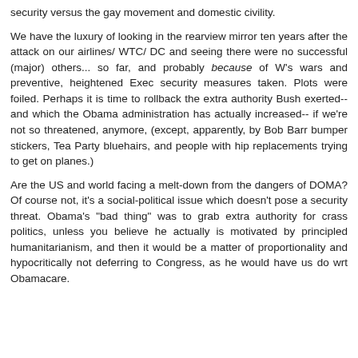security versus the gay movement and domestic civility.
We have the luxury of looking in the rearview mirror ten years after the attack on our airlines/ WTC/ DC and seeing there were no successful (major) others... so far, and probably because of W's wars and preventive, heightened Exec security measures taken. Plots were foiled. Perhaps it is time to rollback the extra authority Bush exerted-- and which the Obama administration has actually increased-- if we're not so threatened, anymore, (except, apparently, by Bob Barr bumper stickers, Tea Party bluehairs, and people with hip replacements trying to get on planes.)
Are the US and world facing a melt-down from the dangers of DOMA? Of course not, it's a social-political issue which doesn't pose a security threat. Obama's "bad thing" was to grab extra authority for crass politics, unless you believe he actually is motivated by principled humanitarianism, and then it would be a matter of proportionality and hypocritically not deferring to Congress, as he would have us do wrt Obamacare.